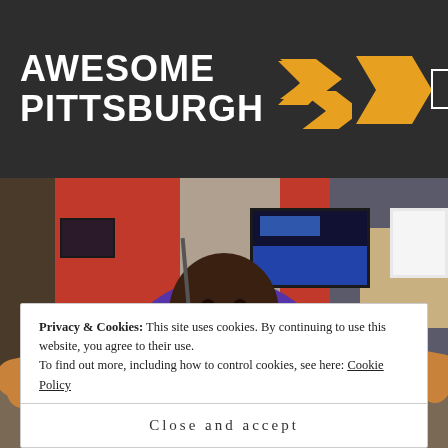AWESOME PITTSBURGH ▶▶
[Figure (photo): A smiling man in a purple hoodie sitting in a recording/radio studio with arms outstretched, red acoustic panels on walls, two computer monitors behind him, and studio equipment visible.]
Privacy & Cookies: This site uses cookies. By continuing to use this website, you agree to their use.
To find out more, including how to control cookies, see here: Cookie Policy
Close and accept